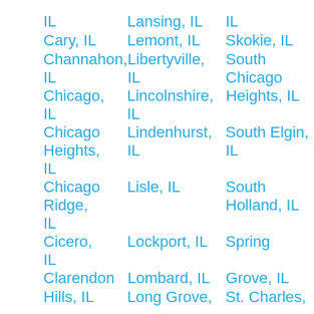IL
Lansing, IL
IL
Cary, IL
Lemont, IL
Skokie, IL
Channahon, IL
Libertyville, IL
South Chicago Heights, IL
Chicago, IL
Lincolnshire, IL
South Elgin, IL
Chicago Heights, IL
Lindenhurst, IL
South Holland, IL
Chicago Ridge, IL
Lisle, IL
Cicero, IL
Lockport, IL
Spring Grove, IL
Clarendon Hills, IL
Lombard, IL
St. Charles,
Long Grove,